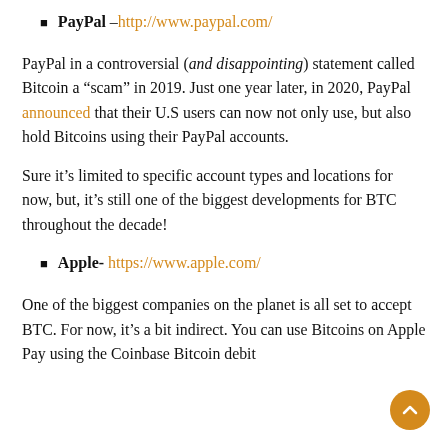PayPal – http://www.paypal.com/
PayPal in a controversial (and disappointing) statement called Bitcoin a “scam” in 2019. Just one year later, in 2020, PayPal announced that their U.S users can now not only use, but also hold Bitcoins using their PayPal accounts.
Sure it’s limited to specific account types and locations for now, but, it’s still one of the biggest developments for BTC throughout the decade!
Apple- https://www.apple.com/
One of the biggest companies on the planet is all set to accept BTC. For now, it’s a bit indirect. You can use Bitcoins on Apple Pay using the Coinbase Bitcoin debit